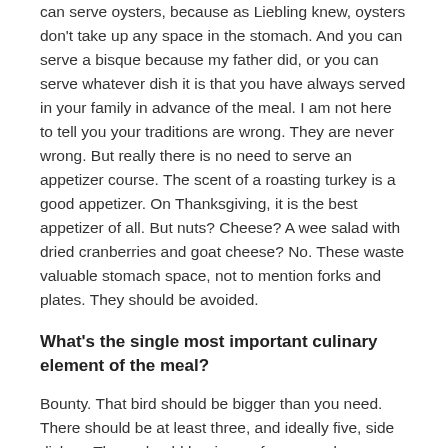can serve oysters, because as Liebling knew, oysters don't take up any space in the stomach. And you can serve a bisque because my father did, or you can serve whatever dish it is that you have always served in your family in advance of the meal. I am not here to tell you your traditions are wrong. They are never wrong. But really there is no need to serve an appetizer course. The scent of a roasting turkey is a good appetizer. On Thanksgiving, it is the best appetizer of all. But nuts? Cheese? A wee salad with dried cranberries and goat cheese? No. These waste valuable stomach space, not to mention forks and plates. They should be avoided.
What's the single most important culinary element of the meal?
Bounty. That bird should be bigger than you need. There should be at least three, and ideally five, side dishes. There should be rivers of gravy and mountains